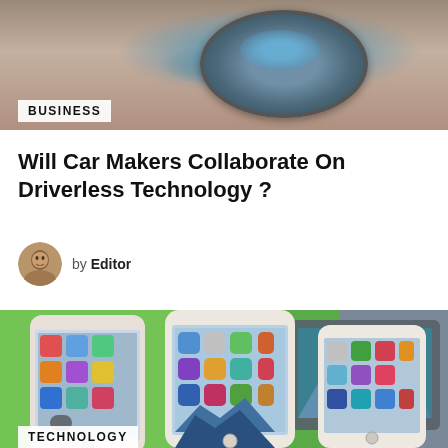[Figure (photo): Top portion of a photo showing a smart home device (round speaker/hub) on a desk with tech equipment]
BUSINESS
Will Car Makers Collaborate On Driverless Technology ?
by Editor
[Figure (photo): Three iPhones of different sizes displayed side by side against a green background with a laptop behind them, showing their home screens with app icons]
TECHNOLOGY